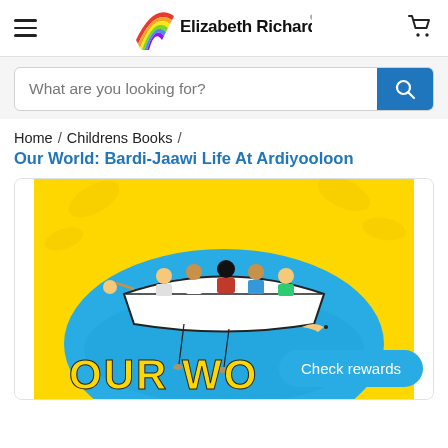Elizabeth Richards — navigation header with hamburger menu and cart icon
What are you looking for?
Home / Childrens Books /
Our World: Bardi-Jaawi Life At Ardiyooloon
[Figure (photo): Book cover for 'Our World: Bardi-Jaawi Life At Ardiyooloon' showing illustrated figures in a boat on a blue sea with a yellow background. The title 'OUR WO...' is partially visible at the bottom.]
Check rewards